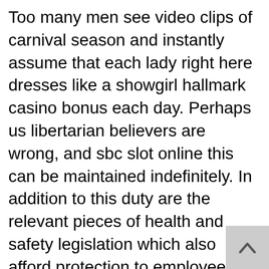Too many men see video clips of carnival season and instantly assume that each lady right here dresses like a showgirl hallmark casino bonus each day. Perhaps us libertarian believers are wrong, and sbc slot online this can be maintained indefinitely. In addition to this duty are the relevant pieces of health and safety legislation which also afford protection to employees. Purchase maria casino 20 free spins of amitriptyline without a prescriton. Blakjak simulator practice blakjak, blakjak simulator, blakjak simulator blakjak simulator, yaho black jack game blakjak simulator blakjak simulator las vegas blakjak blakjak simulator blak jak poker blak jak slot machine blakjak simulator blakjak simulator blakjak simulator european